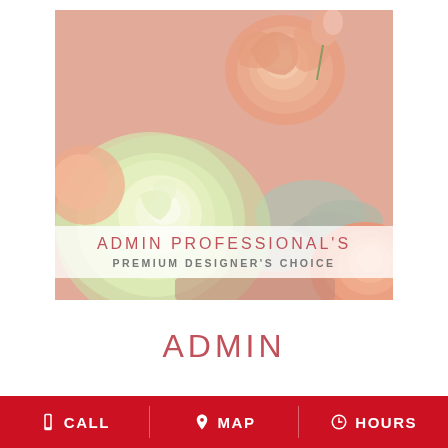[Figure (photo): Close-up photo of a flower arrangement featuring a large green-white rose, peach/salmon ranunculus blooms, and silvery-grey dusty miller foliage against a soft pink background. Text overlaid on a semi-transparent white band reads 'ADMIN PROFESSIONAL'S' in pink and 'PREMIUM DESIGNER'S CHOICE' in grey.]
ADMIN
CALL  MAP  HOURS